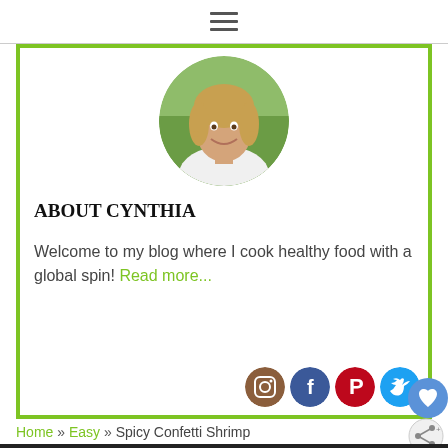[Figure (screenshot): Hamburger menu icon (three horizontal lines) in a white navigation bar]
[Figure (photo): Circular profile photo of a smiling blonde woman]
ABOUT CYNTHIA
Welcome to my blog where I cook healthy food with a global spin! Read more...
[Figure (illustration): Row of social media icons: Instagram, Facebook, Pinterest, Twitter]
Home » Easy » Spicy Confetti Shrimp
[Figure (infographic): Advertisement banner: GO BEYOND SAYING THANK YOU - Operation Gratitude JOIN US]